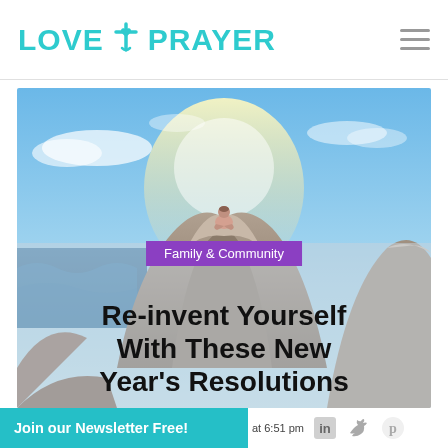LOVE PRAYER
[Figure (photo): Person meditating in lotus position on top of large coastal rocks, dramatic blue sky with clouds and ocean waves below, warm golden light from behind]
Family & Community
Re-invent Yourself With These New Year's Resolutions
at 6:51 pm
Join our Newsletter Free!